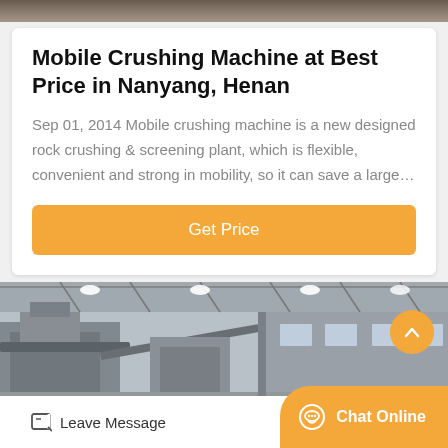[Figure (photo): Top strip showing industrial/stone background image cropped at top of page]
Mobile Crushing Machine at Best Price in Nanyang, Henan
Sep 01, 2014 Mobile crushing machine is a new designed rock crushing & screening plant, which is flexible, convenient and strong in mobility, so it can save a large…
[Figure (other): Orange 'Get Price' button]
[Figure (photo): Industrial factory interior showing heavy machinery and equipment in a large warehouse with overhead lighting]
Leave Message   Chat Online